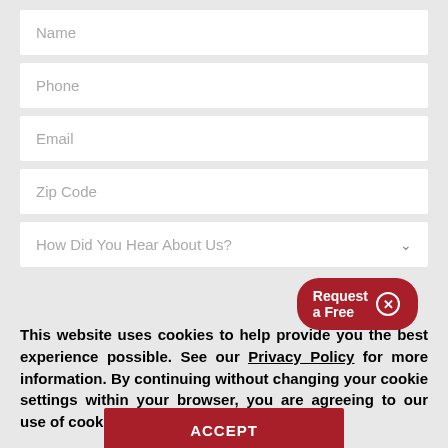[Figure (screenshot): Web form with fields: Name, Phone, Email, Zip Code, and a dropdown 'How Did You Hear About Us?' with a tooltip bubble showing 'Request a Free' in red]
This website uses cookies to help provide you the best experience possible. See our Privacy Policy for more information. By continuing without changing your cookie settings within your browser, you are agreeing to our use of cookies.
ACCEPT